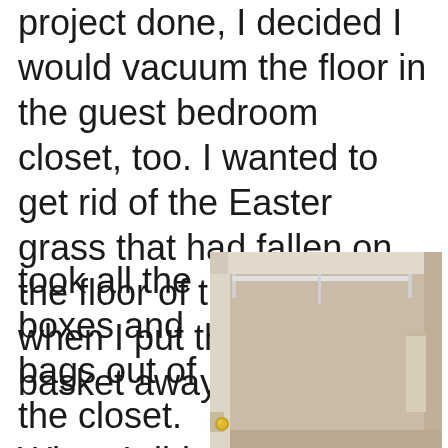project done, I decided I would vacuum the floor in the guest bedroom closet, too. I wanted to get rid of the Easter grass that had fallen on the floor of the closet when I put the Easter basket away. I took all the boxes and bags out of the closet. When I did that, I noticed the
[Figure (photo): Photo of an empty guest bedroom closet with white walls, a white metal hanging rod, and a gold door knob visible at the bottom left of the closet door.]